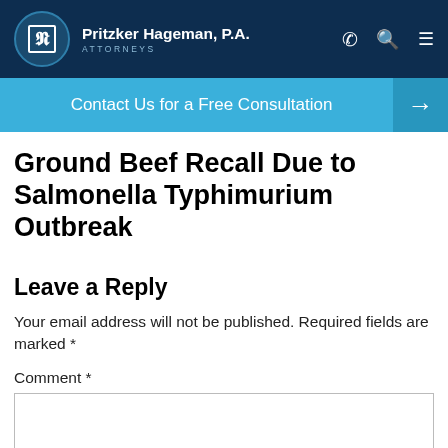Pritzker Hageman, P.A. ATTORNEYS
Contact Us for a Free Consultation →
Ground Beef Recall Due to Salmonella Typhimurium Outbreak
Leave a Reply
Your email address will not be published. Required fields are marked *
Comment *